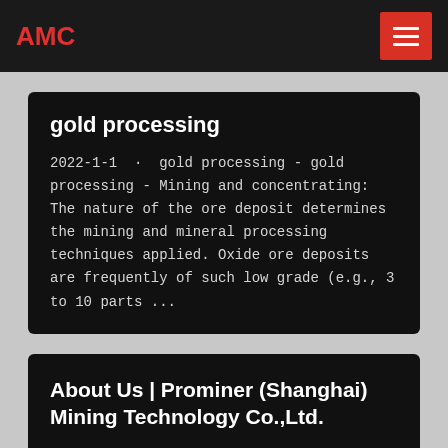AMC
gold processing
2022-1-1 · gold processing - gold processing - Mining and concentrating: The nature of the ore deposit determines the mining and mineral processing techniques applied. Oxide ore deposits are frequently of such low grade (e.g., 3 to 10 parts ...
About Us | Prominer (Shanghai) Mining Technology Co.,Ltd.
So far, Prominer has built complete mineral processing plant on EPC basis